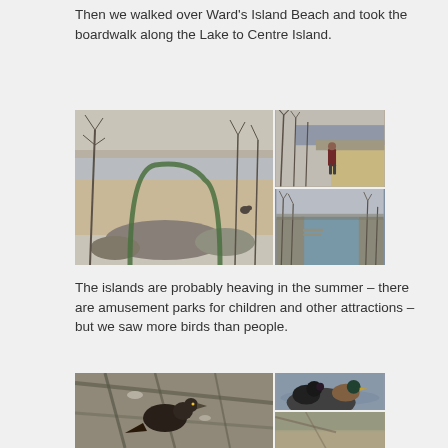Then we walked over Ward's Island Beach and took the boardwalk along the Lake to Centre Island.
[Figure (photo): Three photos arranged in a grid: a large photo on the left showing Ward's Island Beach in winter with bare trees, a sandy beach, and a green archway; top right photo showing a person standing on a boardwalk beside a retaining wall with bare trees and the lake; bottom right photo showing a calm water channel or lagoon with bare trees along both sides.]
The islands are probably heaving in the summer – there are amusement parks for children and other attractions – but we saw more birds than people.
[Figure (photo): Two or three photos of birds: a large close-up photo on the left of a dark bird among bare branches; top right photo showing two ducks (one with a distinctive head) on a rock near water; bottom right photo partially visible.]